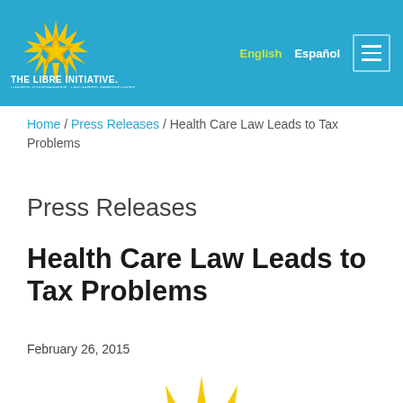[Figure (logo): The LIBRE Initiative logo — golden sunburst star over blue background with text 'THE LIBRE INITIATIVE. LIMITED GOVERNMENT · UNLIMITED OPPORTUNITIES']
English   Español  ☰
Home / Press Releases / Health Care Law Leads to Tax Problems
Press Releases
Health Care Law Leads to Tax Problems
February 26, 2015
[Figure (illustration): Partial view of golden sunburst star rays from The LIBRE Initiative logo, cropped at bottom of page]